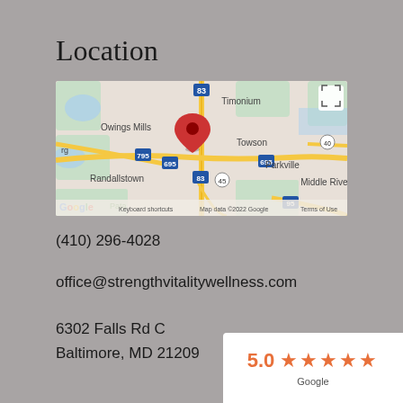Location
[Figure (map): Google Maps screenshot showing the area around Baltimore, MD including Timonium, Owings Mills, Towson, Randallstown, Parkville, and Middle River. A red map pin is placed near the intersection of I-695 and I-83. Map data ©2022 Google.]
(410) 296-4028
office@strengthvitalitywellness.com
6302 Falls Rd C
Baltimore, MD 21209
5.0 ★★★★★